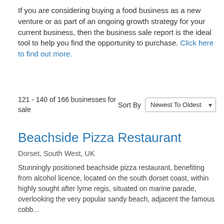If you are considering buying a food business as a new venture or as part of an ongoing growth strategy for your current business, then the business sale report is the ideal tool to help you find the opportunity to purchase. Click here to find out more.
121 - 140 of 166 businesses for sale
Sort By: Newest To Oldest
Beachside Pizza Restaurant
Dorset, South West, UK
Stunningly positioned beachside pizza restaurant, benefiting from alcohol licence, located on the south dorset coast, within highly sought after lyme regis, situated on marine parade, overlooking the very popular sandy beach, adjacent the famous cobb...